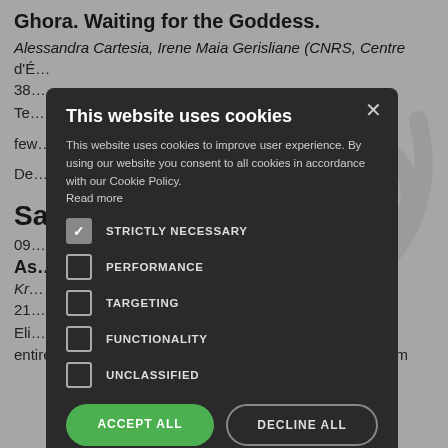Ghora. Waiting for the Goddess.
Alessandra Cartesia, Irene Maia Gerisliane (CNRS, Centre d'É… 38…
Te… st 2013. Within a few… th Das and De… ndergo?
Sa…
09…
As… Kr… 21…
Eli… se has lived her entire life in Alta, northern Norway. Mursal is a refugee from
[Figure (screenshot): Cookie consent modal dialog with dark background. Title: 'This website uses cookies'. Description text about cookie usage and consent. Options: STRICTLY NECESSARY (checked), PERFORMANCE, TARGETING, FUNCTIONALITY, UNCLASSIFIED (all unchecked). Buttons: ACCEPT ALL (green), DECLINE ALL. Footer: SHOW DETAILS with gear icon.]